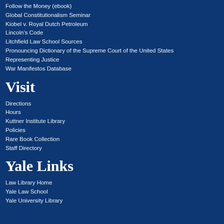Follow the Money (ebook)
Global Constitutionalism Seminar
Kiobel v. Royal Dutch Petroleum
Lincoln's Code
Litchfield Law School Sources
Pronouncing Dictionary of the Supreme Court of the United States
Representing Justice
War Manifestos Database
Visit
Directions
Hours
Kuttner Institute Library
Policies
Rare Book Collection
Staff Directory
Yale Links
Law Library Home
Yale Law School
Yale University Library